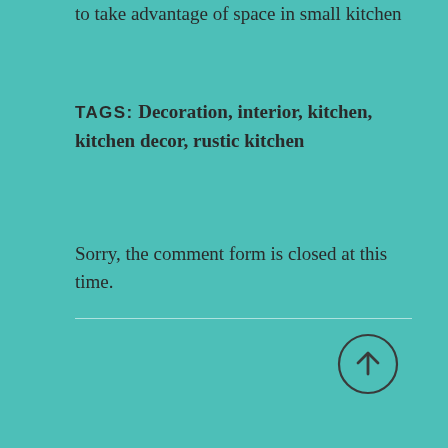to take advantage of space in small kitchen
TAGS: Decoration, interior, kitchen, kitchen decor, rustic kitchen
Sorry, the comment form is closed at this time.
[Figure (illustration): Circle with upward arrow icon for back-to-top navigation]